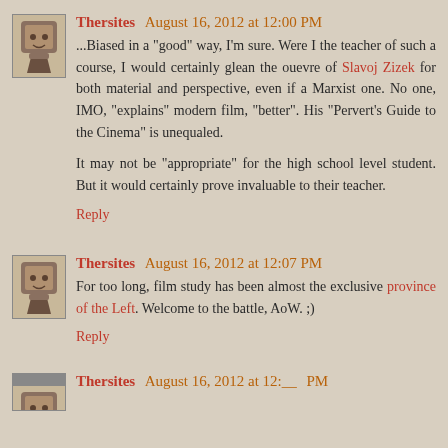Thersites August 16, 2012 at 12:00 PM
...Biased in a "good" way, I'm sure. Were I the teacher of such a course, I would certainly glean the ouevre of Slavoj Zizek for both material and perspective, even if a Marxist one. No one, IMO, "explains" modern film, "better". His "Pervert's Guide to the Cinema" is unequaled.

It may not be "appropriate" for the high school level student. But it would certainly prove invaluable to their teacher.
Reply
Thersites August 16, 2012 at 12:07 PM
For too long, film study has been almost the exclusive province of the Left. Welcome to the battle, AoW. ;)
Reply
Thersites August 16, 2012 at 12:__PM (partial)